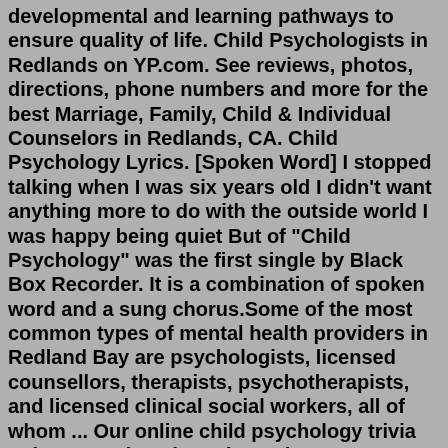developmental and learning pathways to ensure quality of life. Child Psychologists in Redlands on YP.com. See reviews, photos, directions, phone numbers and more for the best Marriage, Family, Child & Individual Counselors in Redlands, CA. Child Psychology Lyrics. [Spoken Word] I stopped talking when I was six years old I didn't want anything more to do with the outside world I was happy being quiet But of "Child Psychology" was the first single by Black Box Recorder. It is a combination of spoken word and a sung chorus.Some of the most common types of mental health providers in Redland Bay are psychologists, licensed counsellors, therapists, psychotherapists, and licensed clinical social workers, all of whom ... Our online child psychology trivia quizzes can be adapted to suit your requirements for taking some of the top child psychology quizzes. Child psychology is an intriguing topic because it gives us several insights into the human brain. First of all, it allows us to see what the average child thinks... Clinical Psychologist and Directors with